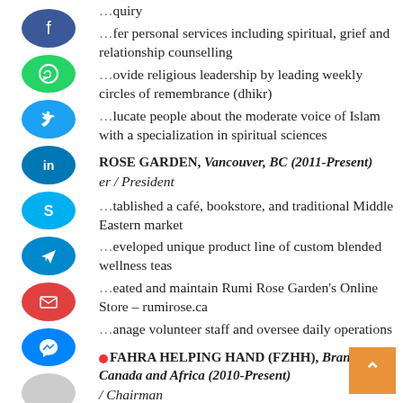[Figure (infographic): Social media share icons on left side: Facebook (blue), WhatsApp (green), Twitter (blue), LinkedIn (blue), Skype (light blue), Telegram (blue), Email (red), Messenger (blue), grey circle]
...quiry
...fer personal services including spiritual, grief and relationship counselling
...ovide religious leadership by leading weekly circles of remembrance (dhikr)
...lucate people about the moderate voice of Islam with a specialization in spiritual sciences
ROSE GARDEN, Vancouver, BC (2011-Present)
er / President
...tablished a café, bookstore, and traditional Middle Eastern market
...eveloped unique product line of custom blended wellness teas
...eated and maintain Rumi Rose Garden's Online Store – rumirose.ca
...anage volunteer staff and oversee daily operations
FAHRA HELPING HAND (FZHH), Branches in Canada and Africa (2010-Present)
/ Chairman
...earheaded the creation of a charity